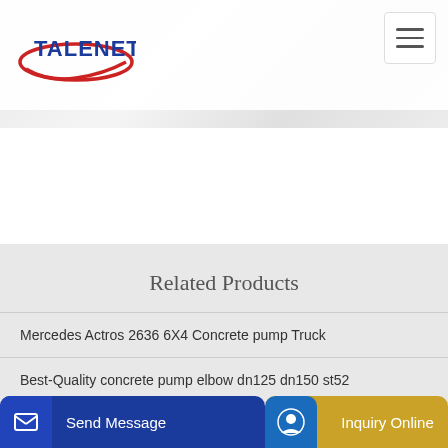[Figure (logo): Talenet logo with red swoosh and blue text]
[Figure (illustration): Hamburger menu icon button]
Related Products
Mercedes Actros 2636 6X4 Concrete pump Truck
Best-Quality concrete pump elbow dn125 dn150 st52
aint G...
Send Message | Inquiry Online